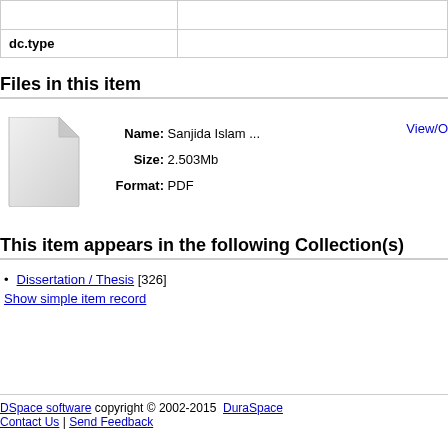| Field | Value |
| --- | --- |
|  |  |
| dc.type |  |
Files in this item
[Figure (other): Generic file icon (document with folded corner)]
Name: Sanjida Islam ...
Size: 2.503Mb
Format: PDF
View/O
This item appears in the following Collection(s)
Dissertation / Thesis [326]
Show simple item record
DSpace software copyright © 2002-2015  DuraSpace
Contact Us | Send Feedback